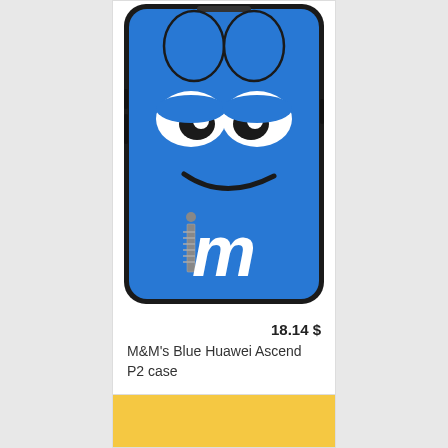[Figure (photo): Blue M&M's character phone case for Huawei Ascend P2, showing a blue M&M face with sleepy eyes and a smirk, with the M&M's logo at the bottom featuring a zipper on the 'i']
18.14 $
M&M's Blue Huawei Ascend P2 case
[Figure (photo): Partially visible yellow phone case at bottom of page]